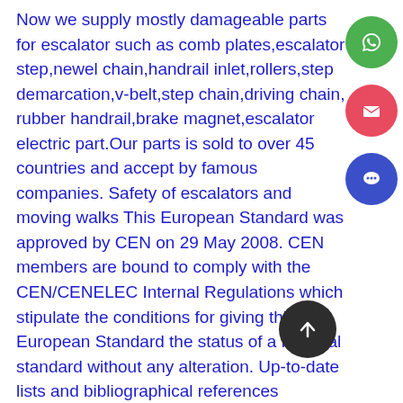Now we supply mostly damageable parts for escalator such as comb plates,escalator step,newel chain,handrail inlet,rollers,step demarcation,v-belt,step chain,driving chain, rubber handrail,brake magnet,escalator electric part.Our parts is sold to over 45 countries and accept by famous companies. Safety of escalators and moving walks This European Standard was approved by CEN on 29 May 2008. CEN members are bound to comply with the CEN/CENELEC Internal Regulations which stipulate the conditions for giving this European Standard the status of a national standard without any alteration. Up-to-date lists and bibliographical references concerning national standards may be obtained on application
[Figure (infographic): Three circular social media / contact icons on the right side: green WhatsApp icon, red email/envelope icon, blue chat/message icon. Plus a dark scroll-to-top button at bottom.]